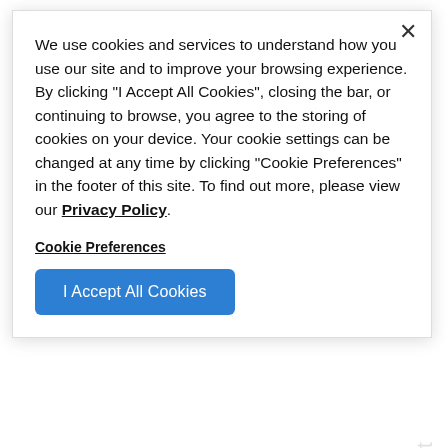augusta, ga
We use cookies and services to understand how you use our site and to improve your browsing experience. By clicking "I Accept All Cookies", closing the bar, or continuing to browse, you agree to the storing of cookies on your device. Your cookie settings can be changed at any time by clicking "Cookie Preferences" in the footer of this site. To find out more, please view our Privacy Policy
Cookie Preferences
I Accept All Cookies
[Figure (other): Rotated italic text reading 'Only the best take yourself at home you defined in the details.' displayed vertically at the bottom right of the page background.]